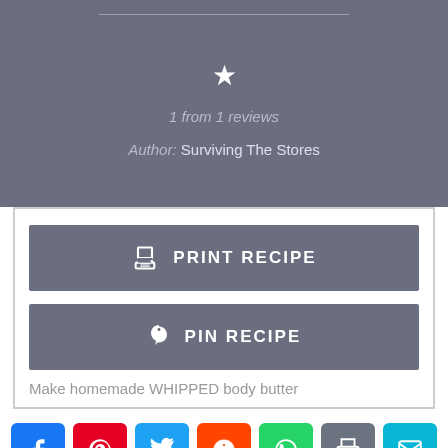[Figure (screenshot): Star rating icon (1 star, white star on dark grey background)]
1 from 1 reviews
Author: Surviving The Stores
[Figure (infographic): PRINT RECIPE button with printer icon]
[Figure (infographic): PIN RECIPE button with Pinterest icon]
Make homemade WHIPPED body butter
[Figure (infographic): Social sharing bar with Facebook, Pinterest, Twitter, Reddit, WhatsApp, Print, and Email icons]